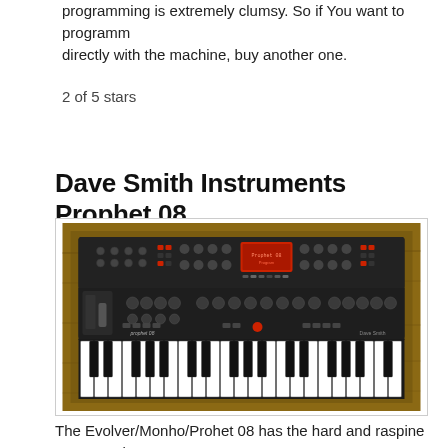programming is extremely clumsy. So if You want to programm directly with the machine, buy another one.
2 of 5 stars
Dave Smith Instruments Prophet 08
[Figure (photo): Overhead photo of the Dave Smith Instruments Prophet 08 synthesizer keyboard, showing the black control panel with knobs, buttons and a small display on top, and a full keyboard with black and white keys, mounted on a wooden surface.]
The Evolver/Monho/Prohet 08 has the hard and raspine DSI-sound, I